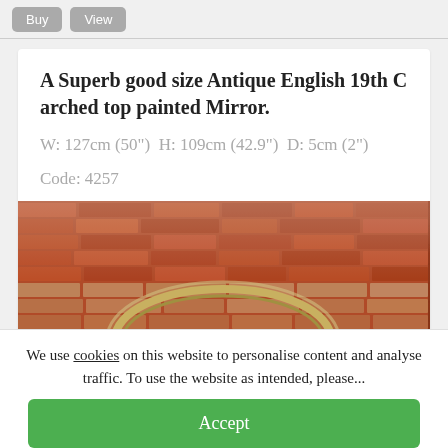A Superb good size Antique English 19th C arched top painted Mirror.
W: 127cm (50")  H: 109cm (42.9")  D: 5cm (2")
Code: 4257
[Figure (photo): Photo of an antique arched top painted mirror with a brick wall background, showing the arched frame of the mirror.]
We use cookies on this website to personalise content and analyse traffic. To use the website as intended, please...
Accept